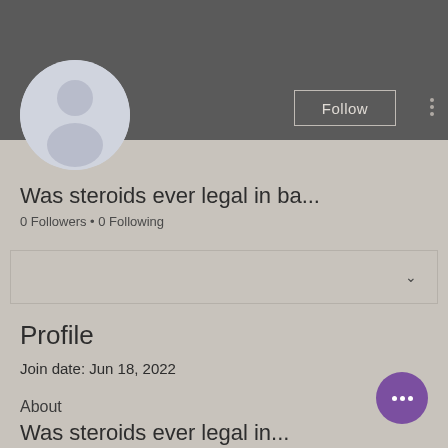[Figure (screenshot): Mobile social media profile page screenshot showing a default avatar, username 'Was steroids ever legal in ba...', follower count, profile section with join date, and about section with purple FAB button]
Was steroids ever legal in ba...
0 Followers • 0 Following
Profile
Join date: Jun 18, 2022
About
Was steroids ever legal in...